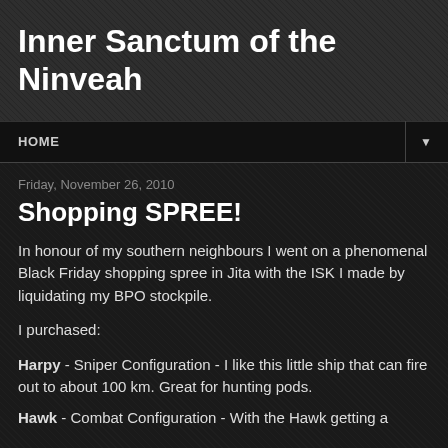Inner Sanctum of the Ninveah
HOME
Friday, November 26, 2010
Shopping SPREE!
In honour of my southern neighbours I went on a phenomenal Black Friday shopping spree in Jita with the ISK I made by liquidating my BPO stockpile.
I purchased:
Harpy - Sniper Configuration - I like this little ship that can fire out to about 100 km. Great for hunting pods.
Hawk - Combat Configuration - With the Hawk getting a